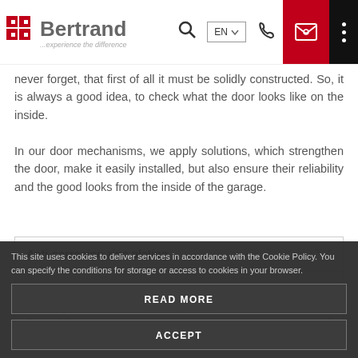Bertrand ...experience the difference
never forget, that first of all it must be solidly constructed. So, it is always a good idea, to check what the door looks like on the inside.
In our door mechanisms, we apply solutions, which strengthen the door, make it easily installed, but also ensure their reliability and the good looks from the inside of the garage.
Anti-corrosion zinc plating
Middle hinges
Painted fittings
Safe everyday living
We continuously improve our products introducing solutions, which
This site uses cookies to deliver services in accordance with the Cookie Policy. You can specify the conditions for storage or access to cookies in your browser.
READ MORE
ACCEPT